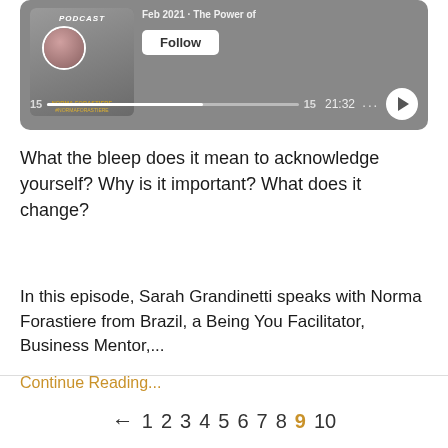[Figure (screenshot): Podcast player widget with gray background, cover art showing a woman's portrait, Follow button, progress bar, time 21:32, and play button]
What the bleep does it mean to acknowledge yourself? Why is it important? What does it change?
In this episode, Sarah Grandinetti speaks with Norma Forastiere from Brazil, a Being You Facilitator, Business Mentor,...
Continue Reading...
← 1 2 3 4 5 6 7 8 9 10